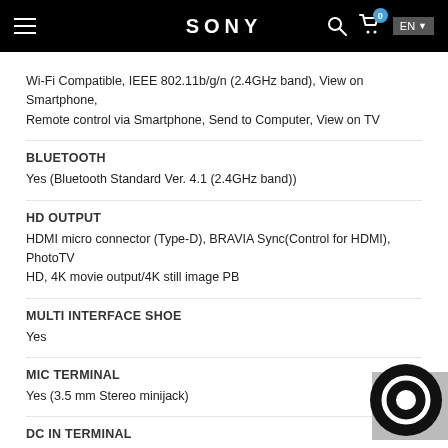SONY
Wi-Fi Compatible, IEEE 802.11b/g/n (2.4GHz band), View on Smartphone, Remote control via Smartphone, Send to Computer, View on TV
BLUETOOTH
Yes (Bluetooth Standard Ver. 4.1 (2.4GHz band))
HD OUTPUT
HDMI micro connector (Type-D), BRAVIA Sync(Control for HDMI), PhotoTV HD, 4K movie output/4K still image PB
MULTI INTERFACE SHOE
Yes
MIC TERMINAL
Yes (3.5 mm Stereo minijack)
DC IN TERMINAL